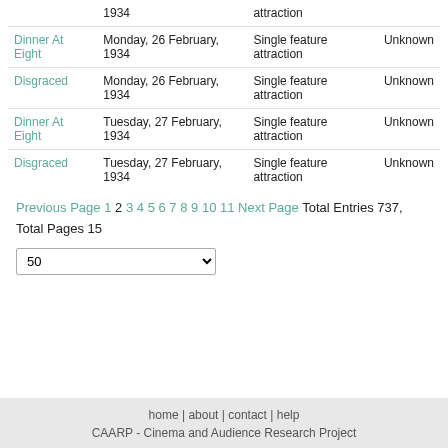| Film | Date | Type | Attendance |
| --- | --- | --- | --- |
|  | 1934 | attraction |  |
| Dinner At Eight | Monday, 26 February, 1934 | Single feature attraction | Unknown |
| Disgraced | Monday, 26 February, 1934 | Single feature attraction | Unknown |
| Dinner At Eight | Tuesday, 27 February, 1934 | Single feature attraction | Unknown |
| Disgraced | Tuesday, 27 February, 1934 | Single feature attraction | Unknown |
Previous Page 1 2 3 4 5 6 7 8 9 10 11 Next Page Total Entries 737, Total Pages 15
home | about | contact | help
CAARP - Cinema and Audience Research Project